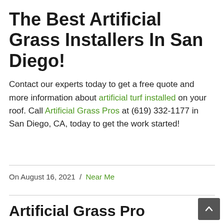The Best Artificial Grass Installers In San Diego!
Contact our experts today to get a free quote and more information about artificial turf installed on your roof. Call Artificial Grass Pros at (619) 332-1177 in San Diego, CA, today to get the work started!
On August 16, 2021 / Near Me
Artificial Grass Pro